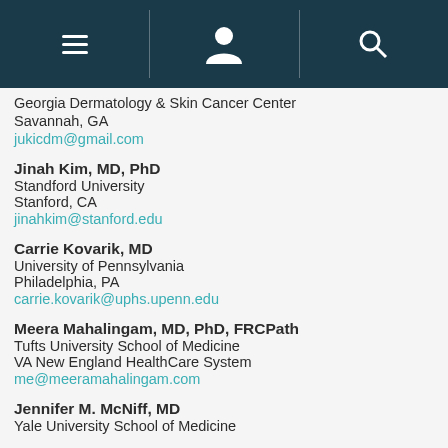Navigation bar with menu, profile, and search icons
Georgia Dermatology & Skin Cancer Center
Savannah, GA
jukicdm@gmail.com
Jinah Kim, MD, PhD
Standford University
Stanford, CA
jinahkim@stanford.edu
Carrie Kovarik, MD
University of Pennsylvania
Philadelphia, PA
carrie.kovarik@uphs.upenn.edu
Meera Mahalingam, MD, PhD, FRCPath
Tufts University School of Medicine
VA New England HealthCare System
me@meeramahalingam.com
Jennifer M. McNiff, MD
Yale University School of Medicine